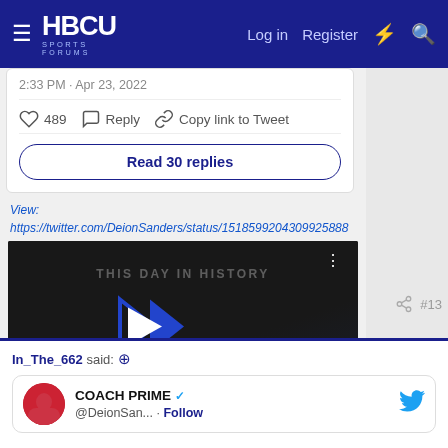HBCU Sports Forums — Log in | Register
2:33 PM · Apr 23, 2022
♡ 489   Reply   Copy link to Tweet
Read 30 replies
View: https://twitter.com/DeionSanders/status/1518599204309925888
[Figure (screenshot): Video player showing 'THIS DAY IN HISTORY' with play button and progress bar, labeled AUGUST]
#13
In_The_662 said: ↑
COACH PRIME ✓ @DeionSan... · Follow